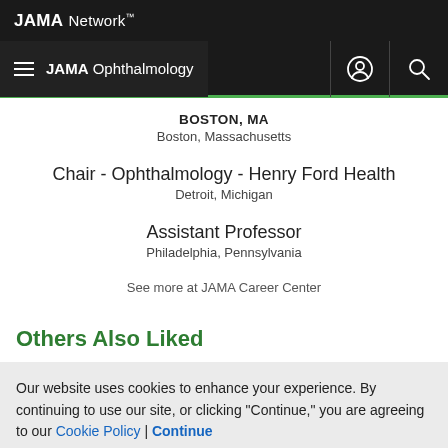JAMA Network
JAMA Ophthalmology
BOSTON, MA
Boston, Massachusetts
Chair - Ophthalmology - Henry Ford Health
Detroit, Michigan
Assistant Professor
Philadelphia, Pennsylvania
See more at JAMA Career Center
Others Also Liked
Our website uses cookies to enhance your experience. By continuing to use our site, or clicking "Continue," you are agreeing to our Cookie Policy | Continue